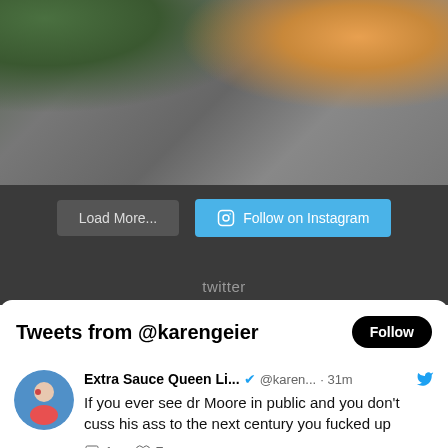[Figure (photo): Photo of plant leaves and rocky surface, with green foliage on left and orange/yellow leaf or flower on right]
Load More...
Follow on Instagram
twitter
Tweets from @karengeier
Follow
Extra Sauce Queen Li... @karen... · 31m
If you ever see dr Moore in public and you don't cuss his ass to the next century you fucked up
1  7